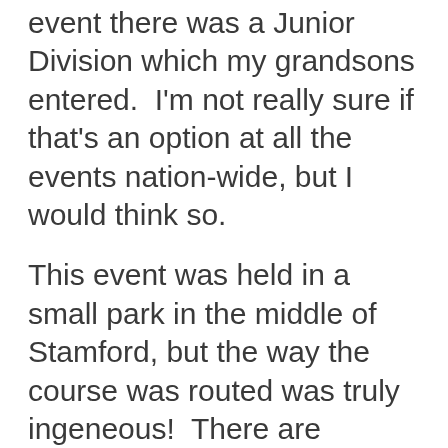event there was a Junior Division which my grandsons entered.  I'm not really sure if that's an option at all the events nation-wide, but I would think so.
This event was held in a small park in the middle of Stamford, but the way the course was routed was truly ingeneous!  There are obstacles along the way - barriers to climb over, etc.  The race for the kids consisted of two laps, but if parents approved they were allowed to run an extra lap.  Most of the younger children had  one of their parents running the course with them, and it was so. Each child that...